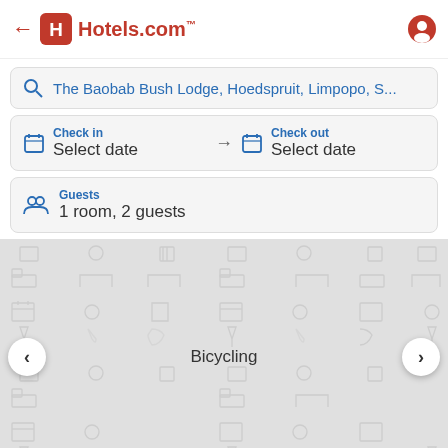[Figure (screenshot): Hotels.com app header with back arrow, Hotels.com logo in red]
The Baobab Bush Lodge, Hoedspruit, Limpopo, S...
Check in
Select date → Check out
Select date
Guests
1 room, 2 guests
[Figure (screenshot): Pattern background with hotel/travel icons repeated in a grid. Navigation left/right arrows. Center label: Bicycling. Bottom bar shows 'Bicycling' label and '1 / 61' page indicator.]